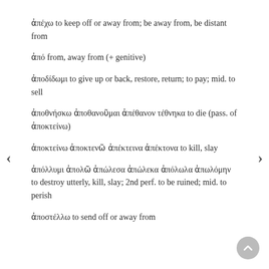ἀπέχω  to keep off or away from; be away from, be distant from
ἀπό  from, away from (+ genitive)
ἀποδίδωμι  to give up or back, restore, return; to pay; mid. to sell
ἀποθνήσκω  ἀποθανοῦμαι  ἀπέθανον τέθνηκα  to die (pass. of ἀποκτείνω)
ἀποκτείνω ἀποκτενῶ ἀπέκτεινα ἀπέκτονα to kill, slay
ἀπόλλυμι ἀπολῶ ἀπώλεσα ἀπώλεκα ἀπόλωλα ἀπωλόμην  to destroy utterly, kill, slay; 2nd perf. to be ruined; mid. to perish
ἀποστέλλω  to send off or away from